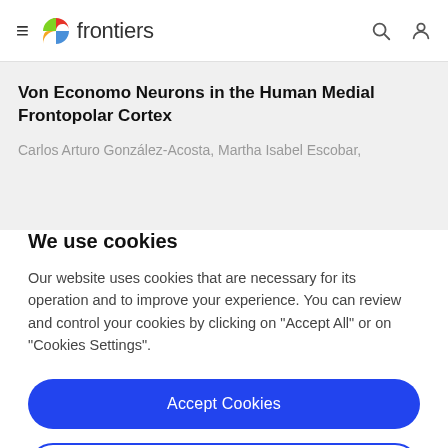frontiers
Von Economo Neurons in the Human Medial Frontopolar Cortex
Carlos Arturo González-Acosta, Martha Isabel Escobar,
We use cookies
Our website uses cookies that are necessary for its operation and to improve your experience. You can review and control your cookies by clicking on "Accept All" or on "Cookies Settings".
Accept Cookies
Cookies Settings